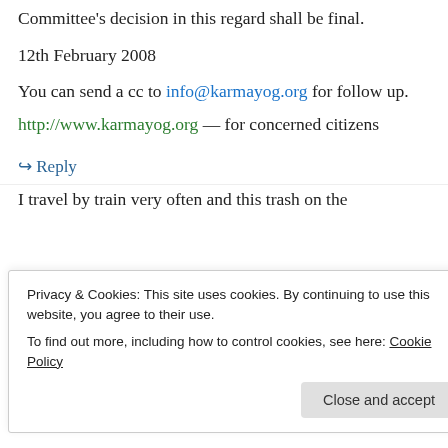Committee's decision in this regard shall be final.
12th February 2008
You can send a cc to info@karmayog.org for follow up.
http://www.karmayog.org — for concerned citizens
↪ Reply
[Figure (other): Green horizontal divider line with 'REPORT THIS AD' label on the right]
Privacy & Cookies: This site uses cookies. By continuing to use this website, you agree to their use. To find out more, including how to control cookies, see here: Cookie Policy
I travel by train very often and this trash on the